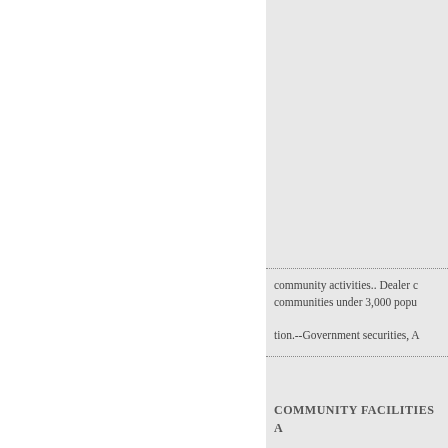community activities.. Dealer c communities under 3,000 popu tion.--Government securities, A
COMMUNITY FACILITIES A